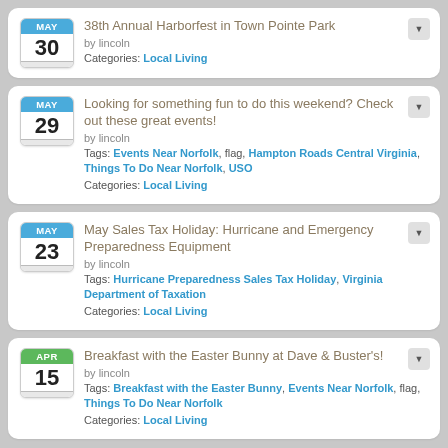38th Annual Harborfest in Town Pointe Park | MAY 30 | by lincoln | Categories: Local Living
Looking for something fun to do this weekend? Check out these great events! | MAY 29 | by lincoln | Tags: Events Near Norfolk, flag, Hampton Roads Central Virginia, Things To Do Near Norfolk, USO | Categories: Local Living
May Sales Tax Holiday: Hurricane and Emergency Preparedness Equipment | MAY 23 | by lincoln | Tags: Hurricane Preparedness Sales Tax Holiday, Virginia Department of Taxation | Categories: Local Living
Breakfast with the Easter Bunny at Dave & Buster's! | APR 15 | by lincoln | Tags: Breakfast with the Easter Bunny, Events Near Norfolk, flag, Things To Do Near Norfolk | Categories: Local Living